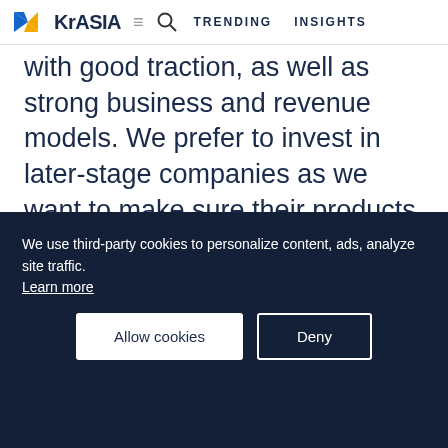KrASIA | TRENDING | INSIGHTS
with good traction, as well as strong business and revenue models. We prefer to invest in later-stage companies as we want to make sure their products are reliable to implement in our SOE partners.
[Figure (infographic): KrASIA Join New Community ad banner with illustration of people and a smartphone]
Kr: What kind of digitization do MDI
We use third-party cookies to personalize content, ads, analyze site traffic.
Learn more